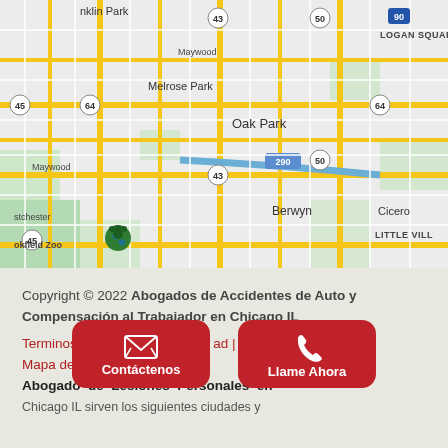[Figure (map): Google Maps screenshot showing western Chicago suburbs including Franklin Park, Logan Square, Melrose Park, Oak Park, Maywood, Berwyn, Cicero, Little Village, Westchester, and Brookfield Zoo with highway markers 43, 45, 50, 64, 90, 290]
Copyright © 2022 Abogados de Accidentes de Auto y Compensación al Trabajador en Chicago IL
Terminos | Politicidad | Mapa del sitio
Abogado de Lesiones Personales en Chicago IL sirven los siguientes ciudades y...